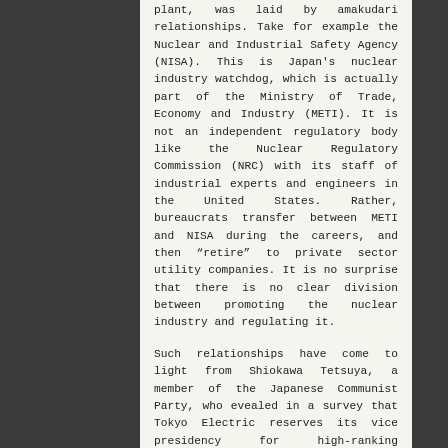plant, was laid by amakudari relationships. Take for example the Nuclear and Industrial Safety Agency (NISA). This is Japan's nuclear industry watchdog, which is actually part of the Ministry of Trade, Economy and Industry (METI). It is not an independent regulatory body like the Nuclear Regulatory Commission (NRC) with its staff of industrial experts and engineers in the United States. Rather, bureaucrats transfer between METI and NISA during the careers, and then “retire” to private sector utility companies. It is no surprise that there is no clear division between promoting the nuclear industry and regulating it.
Such relationships have come to light from Shiokawa Tetsuya, a member of the Japanese Communist Party, who evealed in a survey that Tokyo Electric reserves its vice presidency for high-ranking bureaucrats from the METI, as well as other executive positions for these officials since the 1960s. Ishida Toru, the former head of the METI Agency for Natural Resources and